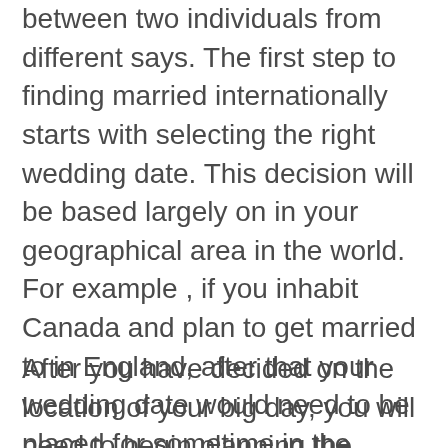between two individuals from different says. The first step to finding married internationally starts with selecting the right wedding date. This decision will be based largely on in your geographical area in the world. For example , if you inhabit Canada and plan to get married to in England, after that your wedding date would need to be placed for sometime in the future. In the event you live in the usa, choosing a date for the wedding close to the bride's home country can help you avoid travel fees.
After you have decided on the location of your big day, you will need to begin planning the details of the celebration. For example, the...